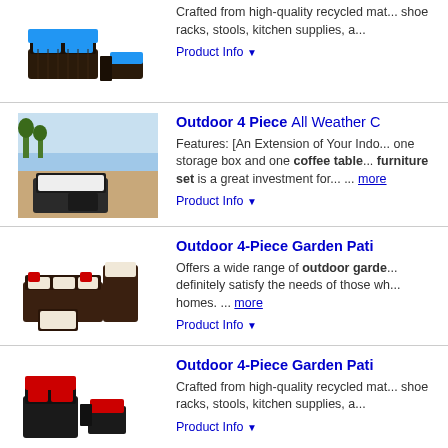[Figure (photo): Outdoor furniture set with blue cushions - wicker rattan sofa set]
Crafted from high-quality recycled mat... shoe racks, stools, kitchen supplies, a...
Product Info ▼
[Figure (photo): Outdoor 4 piece all weather furniture set with brown rattan and white cushions]
Outdoor 4 Piece All Weather C
Features: [An Extension of Your Indo... one storage box and one coffee table... furniture set is a great investment for... ... more
Product Info ▼
[Figure (photo): Outdoor 4-Piece Garden Patio furniture set with red cushions and dark rattan]
Outdoor 4-Piece Garden Pati
Offers a wide range of outdoor garde... definitely satisfy the needs of those wh... homes. ... more
Product Info ▼
[Figure (photo): Outdoor 4-Piece Garden Patio set with red cushions]
Outdoor 4-Piece Garden Pati
Crafted from high-quality recycled mat... shoe racks, stools, kitchen supplies, a...
Product Info ▼
[Figure (photo): Outdoor 4-Piece Garden Patio set with red cushions - bottom row]
Outdoor 4-Piece Garden Pati
Crafted from high-quality recycled mat... shoe racks, stools, kitchen supplies, a...
Product Info ▼